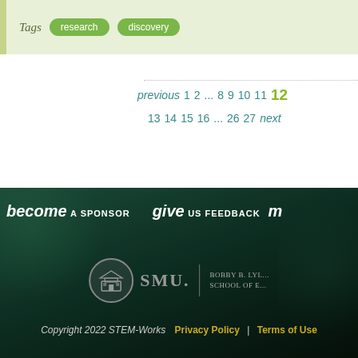Tags  research  discovery
previous  1  2  ...  8  9  10  11  12  13  14  15  16  ...  26  27  next
[Figure (other): SMU Bobby B. Lyle School of Engineering logo with building icon]
Copyright 2022 STEM-Works  |  Privacy Policy  |  Terms of Use